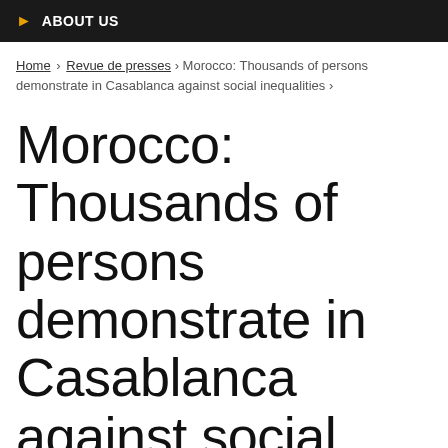ABOUT US
Home › Revue de presses › Morocco: Thousands of persons demonstrate in Casablanca against social inequalities ›
Morocco: Thousands of persons demonstrate in Casablanca against social inequalities